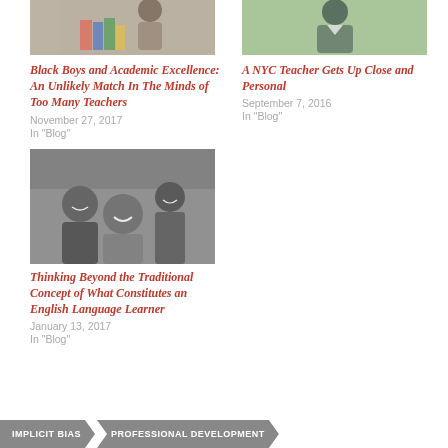[Figure (photo): Top left photo of student with books (grayscale/color)]
Black Boys and Academic Excellence: An Unlikely Match In The Minds of Too Many Teachers
November 27, 2017
In "Blog"
[Figure (photo): Top right photo of NYC teacher outdoors]
A NYC Teacher Gets Up Close and Personal
September 7, 2016
In "Blog"
[Figure (photo): Lower left black and white photo of group of smiling students]
Thinking Beyond the Traditional Concept of What Constitutes an English Language Learner
January 13, 2017
In "Blog"
IMPLICIT BIAS
PROFESSIONAL DEVELOPMENT